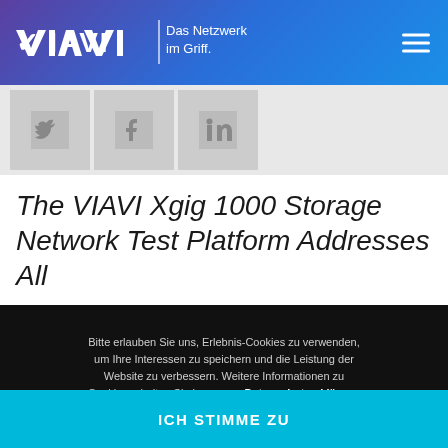VIAVI | Das Netzwerk im Griff.
[Figure (screenshot): Social media icons: Twitter, Facebook, LinkedIn on grey background]
The VIAVI Xgig 1000 Storage Network Test Platform Addresses All
Bitte erlauben Sie uns, Erlebnis-Cookies zu verwenden, um Ihre Interessen zu speichern und die Leistung der Website zu verbessern. Weitere Informationen zu Cookies erhalten Sie in unserer Datenschutzerklärung oder Cookie-Präferenzen.
ICH STIMME ZU